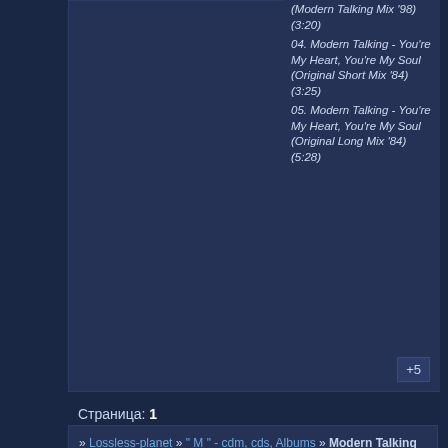(Modern Talking Mix '98) (3:20)
04. Modern Talking - You're My Heart, You're My Soul (Original Short Mix '84) (3:25)
05. Modern Talking - You're My Heart, You're My Soul (Original Long Mix '84) (5:28)
Скрытый текст: Для просмотра скрытого текста - войдите или зарегистрируйтес
+5
Страница: 1
» Lossless-planet » " M " - cdm, cds, Albums » Modern Talking